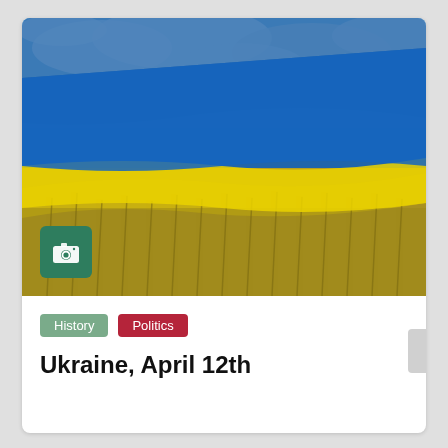[Figure (photo): Ukrainian flag waving over a golden wheat field with blue sky and clouds in the background. A green camera icon badge is overlaid in the lower-left corner of the image.]
History
Politics
Ukraine, April 12th